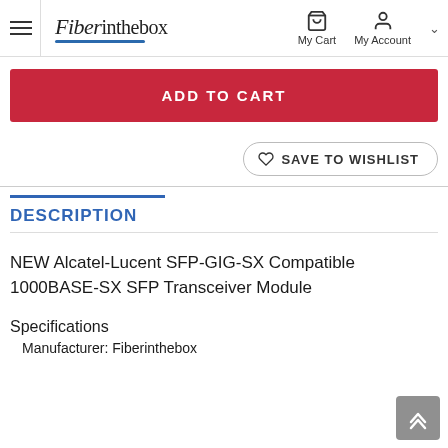Fiberinthebox — My Cart, My Account
ADD TO CART
SAVE TO WISHLIST
DESCRIPTION
NEW Alcatel-Lucent SFP-GIG-SX Compatible 1000BASE-SX SFP Transceiver Module
Specifications
Manufacturer: Fiberinthebox